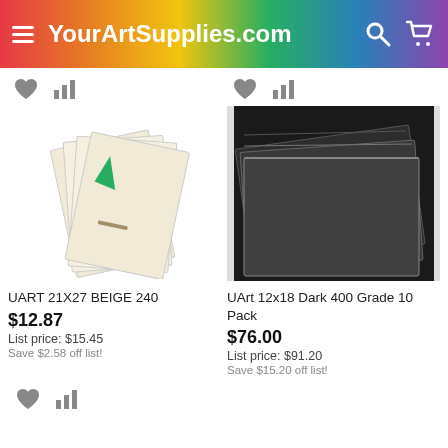YourArtSupplies.com
[Figure (photo): Product photo of UART 21X27 BEIGE 240 pastel paper sheets fanned out showing green, blue, orange, and red pastel strokes on cream/beige paper]
UART 21X27 BEIGE 240
$12.87
List price: $15.45
Save $2.58 off list!
[Figure (photo): Product photo of UArt 12x18 Dark 400 Grade 10 Pack showing dark/black pastel paper sheets stacked at an angle]
UArt 12x18 Dark 400 Grade 10 Pack
$76.00
List price: $91.20
Save $15.20 off list!